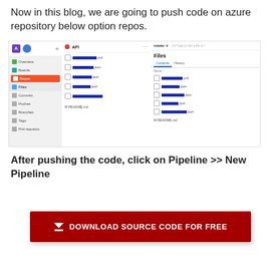Now in this blog, we are going to push code on azure repository below option repos.
[Figure (screenshot): Screenshot of Azure DevOps repository interface showing sidebar navigation with Overview, Boards, Repos (highlighted), Files (selected), Commits, Pushes, Branches, Tags, Pull requests. Middle panel shows API section with several redacted file names. Right panel shows Files section with Contents/History tabs and a list of redacted file names and README.md.]
After pushing the code, click on Pipeline >> New Pipeline
[Figure (screenshot): Red download button with download icon and text 'DOWNLOAD SOURCE CODE FOR FREE']